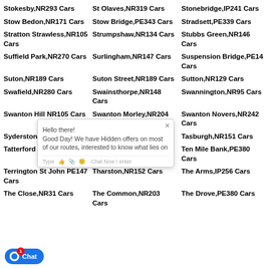Stokesby,NR293 Cars
St Olaves,NR319 Cars
Stonebridge,IP241 Cars
Stow Bedon,NR171 Cars
Stow Bridge,PE343 Cars
Stradsett,PE339 Cars
Stratton Strawless,NR105 Cars
Strumpshaw,NR134 Cars
Stubbs Green,NR146 Cars
Suffield Park,NR270 Cars
Surlingham,NR147 Cars
Suspension Bridge,PE14 Cars
Suton,NR189 Cars
Suton Street,NR189 Cars
Sutton,NR129 Cars
Swafield,NR280 Cars
Swainsthorpe,NR148 Cars
Swannington,NR95 Cars
Swanton Hill NR105 Cars
Swanton Morley,NR204 Cars
Swanton Novers,NR242 Cars
Syderstone Cars
Tacolneston,NR161 Cars
Tasburgh,NR151 Cars
Tatterford Cars
Temple Bar,NR352 Cars
Ten Mile Bank,PE380 Cars
Terrington St John PE147 Cars
Tharston,NR152 Cars
The Arms,IP256 Cars
The Close,NR31 Cars
The Common,NR203 Cars
The Drove,PE380 Cars